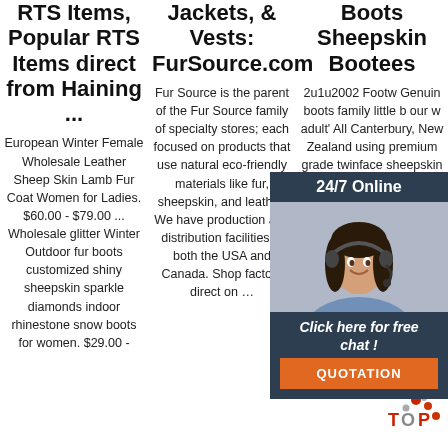RTS Items, Popular RTS Items direct from Haining ...
Jackets, & Vests: FurSource.com
Boots Sheepskin Bootees
European Winter Female Wholesale Leather Sheep Skin Lamb Fur Coat Women for Ladies. $60.00 - $79.00 ... Wholesale glitter Winter Outdoor fur boots customized shiny sheepskin sparkle diamonds indoor rhinestone snow boots for women. $29.00 -
Fur Source is the parent of the Fur Source family of specialty stores; each focused on products that use natural eco-friendly materials like fur, sheepskin, and leather. We have production and distribution facilities in both the USA and Canada. Shop factory direct on …
2u1u2002 Footw Genuin boots family little b our w adult' All Canterbury, New Zealand using premium grade twinface sheepskin tanned specifically for sheep skin
[Figure (infographic): 24/7 Online chat widget overlay with photo of woman with headset, dark blue background, orange QUOTATION button, and text 'Click here for free chat!']
[Figure (logo): TOP logo with red and grey dots]